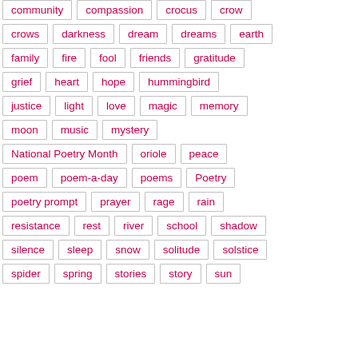community
compassion
crocus
crow
crows
darkness
dream
dreams
earth
family
fire
fool
friends
gratitude
grief
heart
hope
hummingbird
justice
light
love
magic
memory
moon
music
mystery
National Poetry Month
oriole
peace
poem
poem-a-day
poems
Poetry
poetry prompt
prayer
rage
rain
resistance
rest
river
school
shadow
silence
sleep
snow
solitude
solstice
spider
spring
stories
story
sun